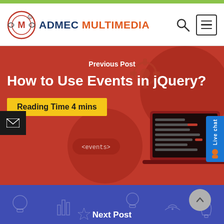[Figure (logo): ADMEC Multimedia logo with circular M emblem and text 'ADMEC MULTIMEDIA']
ADMEC MULTIMEDIA
[Figure (screenshot): Red hero banner with laptop illustration and tech icons showing jQuery events code]
Previous Post
How to Use Events in jQuery?
Reading Time 4 mins
Next Post